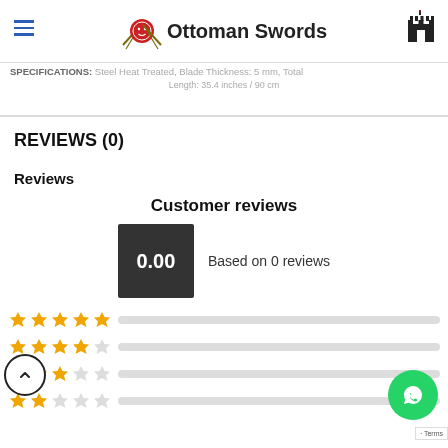Ottoman Swords
SPECIFICATIONS: Steel Heat Treated, Blade Thickness: 5 mm, Total Length: 35.4 inches / 90 cm
REVIEWS (0)
Reviews
Customer reviews
0.00 Based on 0 reviews
[Figure (infographic): Star rating bars: 5-star, 4-star, 3-star (with back-to-top circle), 4-star empty bars; WhatsApp button bottom right]